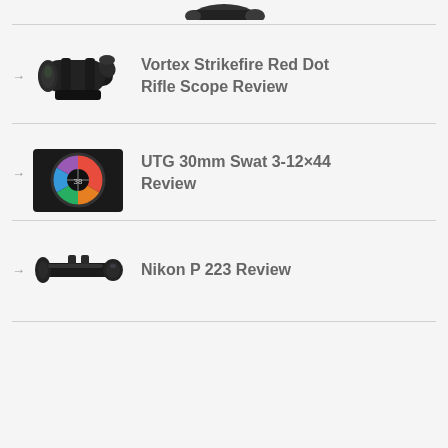[Figure (photo): Partial view of a rifle scope at the top of the page (cropped)]
Vortex Strikefire Red Dot Rifle Scope Review
[Figure (photo): Vortex Strikefire Red Dot Rifle Scope - black scope with lens caps]
UTG 30mm Swat 3-12×44 Review
[Figure (photo): UTG 30mm Swat scope viewed through lens showing colorful reticle]
Nikon P 223 Review
[Figure (photo): Nikon P 223 rifle scope - long black scope]